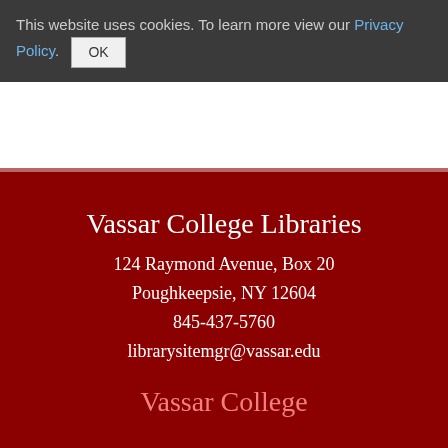This website uses cookies. To learn more view our Privacy Policy. OK
Vassar College Libraries
124 Raymond Avenue, Box 20
Poughkeepsie, NY 12604
845-437-5760
librarysitemgr@vassar.edu
Vassar College